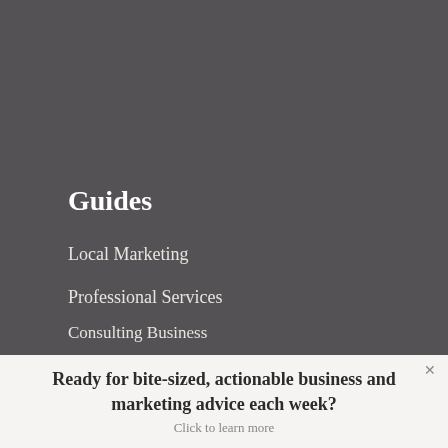Guides
Local Marketing
Professional Services
Consulting Business
Marketing Strategy Plan
Content Marketing
Customer Journey
Referrals
Mobile Marketing
Ready for bite-sized, actionable business and marketing advice each week?
Click to learn more